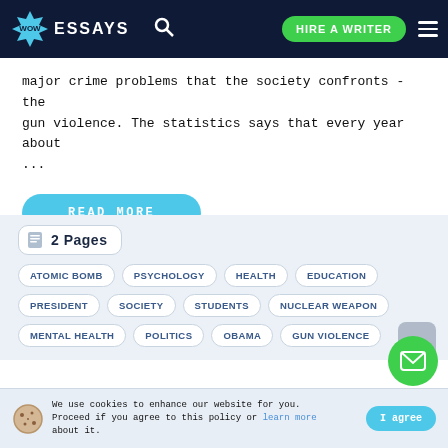WOW ESSAYS — HIRE A WRITER
major crime problems that the society confronts - the gun violence. The statistics says that every year about ...
READ MORE
2 Pages
ATOMIC BOMB
PSYCHOLOGY
HEALTH
EDUCATION
PRESIDENT
SOCIETY
STUDENTS
NUCLEAR WEAPON
MENTAL HEALTH
POLITICS
OBAMA
GUN VIOLENCE
We use cookies to enhance our website for you. Proceed if you agree to this policy or learn more about it.   I agree